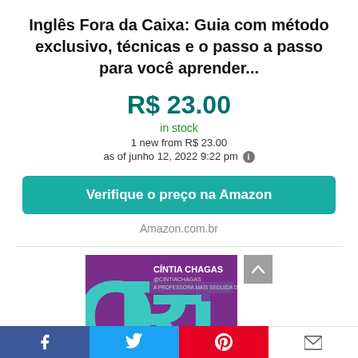Inglês Fora da Caixa: Guia com método exclusivo, técnicas e o passo a passo para você aprender...
R$ 23.00
in stock
1 new from R$ 23.00
as of junho 12, 2022 9:22 pm
Verifique o preço na Amazon
Amazon.com.br
[Figure (photo): Book cover for 'Inglês Fora da Caixa' by Cíntia Chagas, with teal and purple design showing large letters ORT and author name.]
Facebook | Twitter | Pinterest | Mail